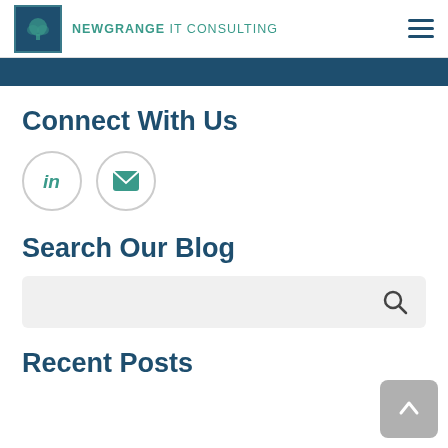NEWGRANGE IT CONSULTING
[Figure (logo): Newgrange IT Consulting logo with teal tree icon in dark blue square and teal text]
Connect With Us
[Figure (infographic): Two circular social media icons: LinkedIn (in) and Email (envelope), outlined circles with teal icons]
Search Our Blog
[Figure (infographic): Search bar with light grey background and magnifying glass icon on the right]
Recent Posts